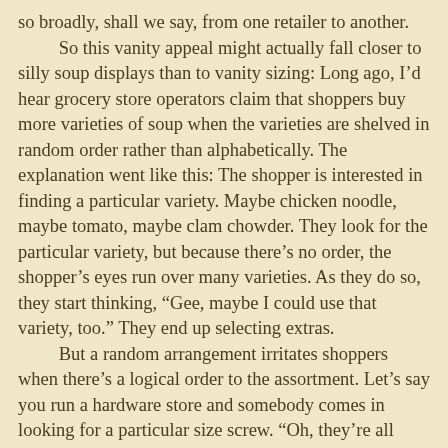so broadly, shall we say, from one retailer to another.
	So this vanity appeal might actually fall closer to silly soup displays than to vanity sizing: Long ago, I’d hear grocery store operators claim that shoppers buy more varieties of soup when the varieties are shelved in random order rather than alphabetically. The explanation went like this: The shopper is interested in finding a particular variety. Maybe chicken noodle, maybe tomato, maybe clam chowder. They look for the particular variety, but because there’s no order, the shopper’s eyes run over many varieties. As they do so, they start thinking, “Gee, maybe I could use that variety, too.” They end up selecting extras.
	But a random arrangement irritates shoppers when there’s a logical order to the assortment. Let’s say you run a hardware store and somebody comes in looking for a particular size screw. “Oh, they’re all mixed up on the shelves,” you’d say. “Keep looking until you find it.”
	The, umm, biggest practitioners of manity sizing reported in the UPI article were, perhaps not surprisingly, supermarkets. Tesco and Asda were selling pants up to two inches larger than announced. Maybe the larger pants could go along with featuring larger food packages.